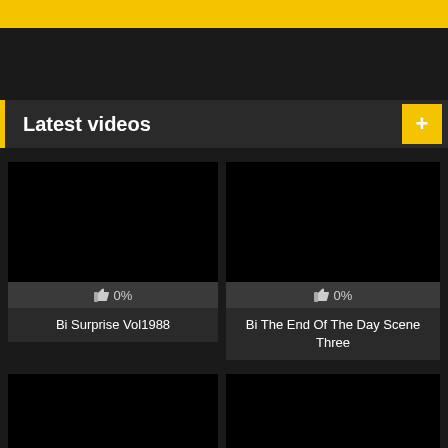[Figure (screenshot): Yellow top banner bar]
Latest videos
[Figure (screenshot): Black video thumbnail for Bi Surprise Vol1988 with 0% rating]
[Figure (screenshot): Black video thumbnail for Bi The End Of The Day Scene Three with 0% rating]
Bi Surprise Vol1988
Bi The End Of The Day Scene Three
[Figure (screenshot): Black video thumbnail partially visible at bottom left]
[Figure (screenshot): Black video thumbnail partially visible at bottom right]